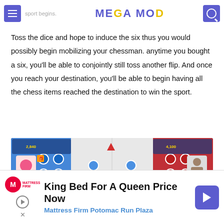MEGA MOD
Toss the dice and hope to induce the six thus you would possibly begin mobilizing your chessman. anytime you bought a six, you'll be able to conjointly still toss another flip. And once you reach your destination, you'll be able to begin having all the chess items reached the destination to win the sport.
[Figure (screenshot): Screenshot of a Ludo board game app showing a game in progress with blue and red sides, player tokens on the board, and player profiles with scores (2,840 and 4,100). Players shown: Albania/Uendi Lv2 and Kabiru Mandal Lv1.]
[Figure (other): Advertisement banner for Mattress Firm: 'King Bed For A Queen Price Now - Mattress Firm Potomac Run Plaza' with logo and directional arrow icon.]